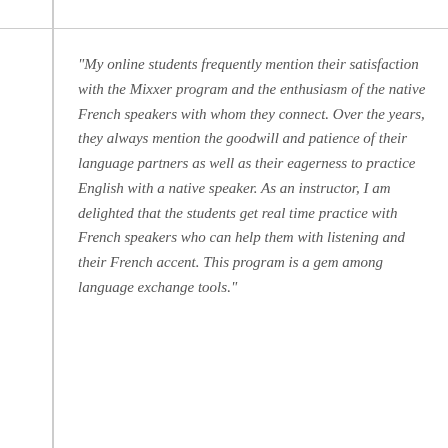"My online students frequently mention their satisfaction with the Mixxer program and the enthusiasm of the native French speakers with whom they connect. Over the years, they always mention the goodwill and patience of their language partners as well as their eagerness to practice English with a native speaker. As an instructor, I am delighted that the students get real time practice with French speakers who can help them with listening and their French accent. This program is a gem among language exchange tools."